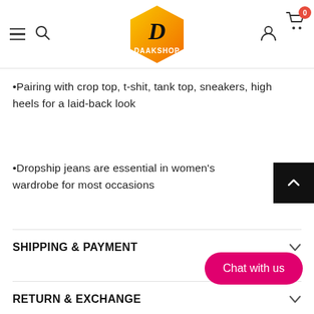[Figure (logo): Daakshop logo — orange/yellow gradient hexagon with a stylized D and the word DAAKSHOP in white]
•Pairing with crop top, t-shit, tank top, sneakers, high heels for a laid-back look
•Dropship jeans are essential in women's wardrobe for most occasions
SHIPPING & PAYMENT
RETURN & EXCHANGE